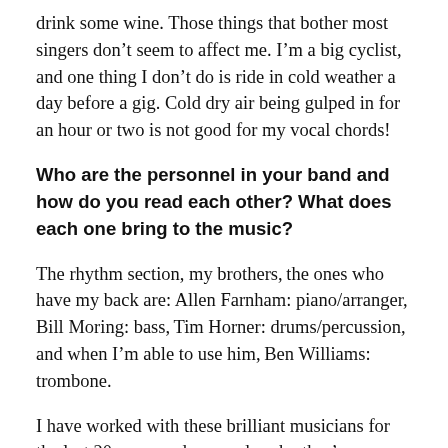drink some wine. Those things that bother most singers don’t seem to affect me. I’m a big cyclist, and one thing I don’t do is ride in cold weather a day before a gig. Cold dry air being gulped in for an hour or two is not good for my vocal chords!
Who are the personnel in your band and how do you read each other? What does each one bring to the music?
The rhythm section, my brothers, the ones who have my back are: Allen Farnham: piano/arranger, Bill Moring: bass, Tim Horner: drums/percussion, and when I’m able to use him, Ben Williams: trombone.
I have worked with these brilliant musicians for the last 20 years and we read each other’s